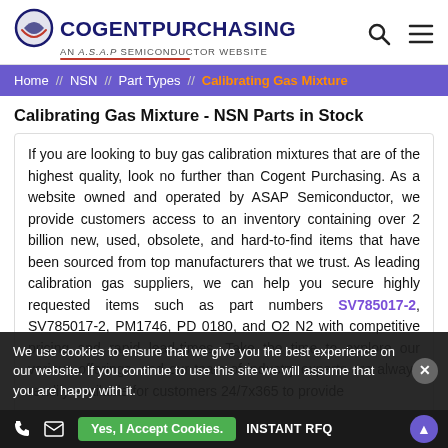COGENTPURCHASING AN A.S.A.P SEMICONDUCTOR WEBSITE
Home // NSN // Part Types // Calibrating Gas Mixture
Calibrating Gas Mixture - NSN Parts in Stock
If you are looking to buy gas calibration mixtures that are of the highest quality, look no further than Cogent Purchasing. As a website owned and operated by ASAP Semiconductor, we provide customers access to an inventory containing over 2 billion new, used, obsolete, and hard-to-find items that have been sourced from top manufacturers that we trust. As leading calibration gas suppliers, we can help you secure highly requested items such as part numbers SV785017-2, SV785017-2, PM1746, PD 0180, and O2 N2 with competitive pricing and rapid lead-times. Take the time to explore our various offerings, and our team of industry experts are always readily available for customers 24/7x365 to provide
We use cookies to ensure that we give you the best experience on our website. If you continue to use this site we will assume that you are happy with it.
Yes, I Accept Cookies.   INSTANT RFQ